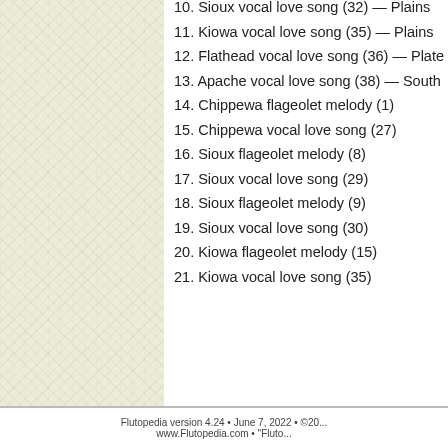10. Sioux vocal love song (32) — Plains
11. Kiowa vocal love song (35) — Plains
12. Flathead vocal love song (36) — Plate
13. Apache vocal love song (38) — South
14. Chippewa flageolet melody (1)
15. Chippewa vocal love song (27)
16. Sioux flageolet melody (8)
17. Sioux vocal love song (29)
18. Sioux flageolet melody (9)
19. Sioux vocal love song (30)
20. Kiowa flageolet melody (15)
21. Kiowa vocal love song (35)
Flutopedia version 4.24 • June 7, 2022 • ©20...
www.Flutopedia.com • "Fluto...